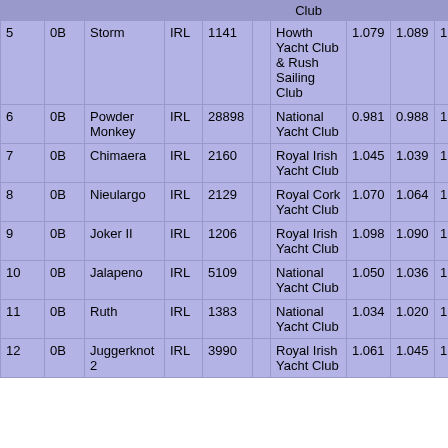| # | Class | Boat Name | Nat | Sail No |  | Club |  |  | Time |
| --- | --- | --- | --- | --- | --- | --- | --- | --- | --- |
| 5 | 0B | Storm | IRL | 1141 |  | Howth Yacht Club & Rush Sailing Club | 1.079 | 1.089 | 1:08:18 |
| 6 | 0B | Powder Monkey | IRL | 28898 |  | National Yacht Club | 0.981 | 0.988 | 1:15:22 |
| 7 | 0B | Chimaera | IRL | 2160 |  | Royal Irish Yacht Club | 1.045 | 1.039 | 1:11:54 |
| 8 | 0B | Nieulargo | IRL | 2129 |  | Royal Cork Yacht Club | 1.070 | 1.064 | 1:10:14 |
| 9 | 0B | Joker II | IRL | 1206 |  | Royal Irish Yacht Club | 1.098 | 1.090 | 1:08:34 |
| 10 | 0B | Jalapeno | IRL | 5109 |  | National Yacht Club | 1.050 | 1.036 | 1:12:20 |
| 11 | 0B | Ruth | IRL | 1383 |  | National Yacht Club | 1.034 | 1.020 | 1:13:29 |
| 12 | 0B | Juggerknot 2 | IRL | 3990 |  | Royal Irish Yacht Club | 1.061 | 1.045 | 1:11:46 |